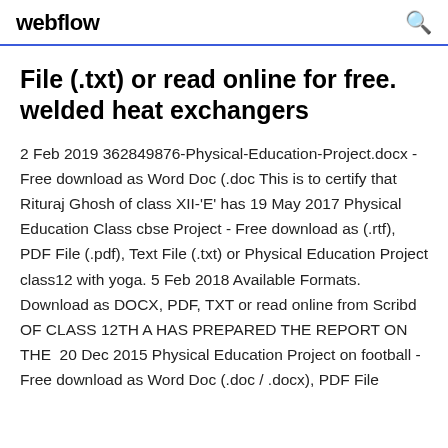webflow
File (.txt) or read online for free. welded heat exchangers
2 Feb 2019 362849876-Physical-Education-Project.docx - Free download as Word Doc (.doc This is to certify that Rituraj Ghosh of class XII-'E' has 19 May 2017 Physical Education Class cbse Project - Free download as (.rtf), PDF File (.pdf), Text File (.txt) or Physical Education Project class12 with yoga. 5 Feb 2018 Available Formats. Download as DOCX, PDF, TXT or read online from Scribd OF CLASS 12TH A HAS PREPARED THE REPORT ON THE  20 Dec 2015 Physical Education Project on football - Free download as Word Doc (.doc / .docx), PDF File